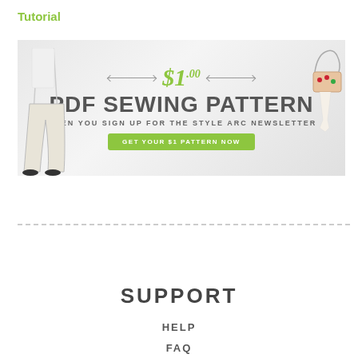Tutorial
[Figure (illustration): Promotional banner for Style Arc: '$1.00 PDF Sewing Pattern when you sign up for the Style Arc newsletter. Get your $1 pattern now.' Features fashion illustration of woman in pants on left and hand holding a floral clutch on right.]
SUPPORT
HELP
FAQ